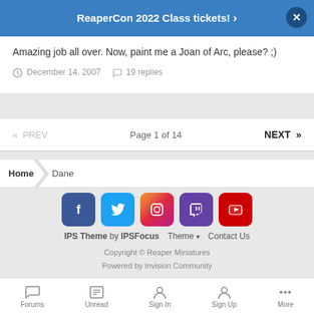ReaperCon 2022 Class tickets! ›
Amazing job all over. Now, paint me a Joan of Arc, please? ;)
December 14, 2007   19 replies
« PREV   Page 1 of 14   NEXT »
Home  Dane
[Figure (other): Social media icons: Facebook, Twitter, Instagram, Twitch, YouTube]
IPS Theme by IPSFocus  Theme ▾  Contact Us
Copyright © Reaper Miniatures
Powered by Invision Community
Forums  Unread  Sign In  Sign Up  More